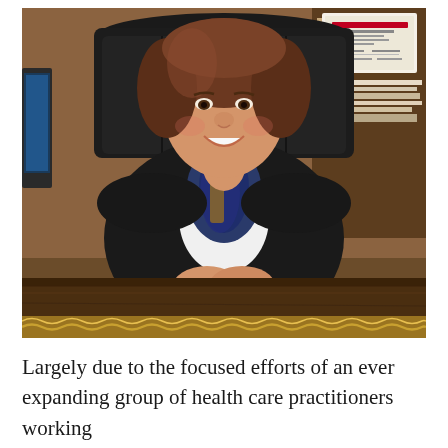[Figure (photo): A woman with short brown hair, smiling, seated at a large wooden desk with her hands clasped in front of her. She is wearing a black blazer and a blue patterned scarf. In the background there is a black leather chair, bookshelves with papers and books stacked up, and a framed certificate or diploma on the wall. The desk has an ornate gold rope-style trim.]
Largely due to the focused efforts of an ever expanding group of health care practitioners working